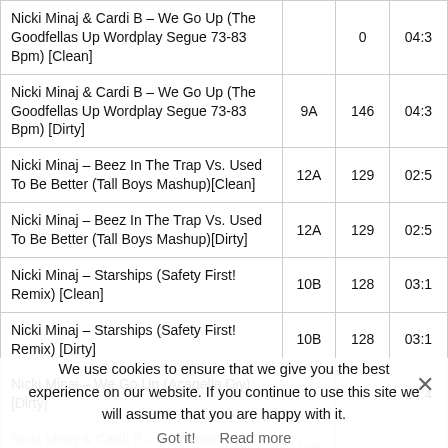| Title | Key | BPM | Time |
| --- | --- | --- | --- |
| Nicki Minaj & Cardi B – We Go Up (The Goodfellas Up Wordplay Segue 73-83 Bpm) [Clean] |  | 0 | 04:3 |
| Nicki Minaj & Cardi B – We Go Up (The Goodfellas Up Wordplay Segue 73-83 Bpm) [Dirty] | 9A | 146 | 04:3 |
| Nicki Minaj – Beez In The Trap Vs. Used To Be Better (Tall Boys Mashup)[Clean] | 12A | 129 | 02:5 |
| Nicki Minaj – Beez In The Trap Vs. Used To Be Better (Tall Boys Mashup)[Dirty] | 12A | 129 | 02:5 |
| Nicki Minaj – Starships (Safety First! Remix) [Clean] | 10B | 128 | 03:1 |
| Nicki Minaj – Starships (Safety First! Remix) [Dirty] | 10B | 128 | 03:1 |
| Nicki Minaj – We Go Up (Acapella Diy)[Dirty] |  | 0 | 04:4 |
| Nicki Minaj & Cardi B – Starships (Dj B-Follou's Combo Blend) | 10B |  |  |
| Nicki Minaj & Daft Punk – Get Low (for Allie |  |  |  |
We use cookies to ensure that we give you the best experience on our website. If you continue to use this site we will assume that you are happy with it.